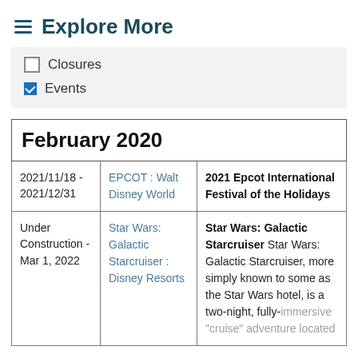Explore More
Closures
Events
| February 2020 |  |  |
| --- | --- | --- |
| 2021/11/18 - 2021/12/31 | EPCOT : Walt Disney World | 2021 Epcot International Festival of the Holidays |
| Under Construction - Mar 1, 2022 | Star Wars: Galactic Starcruiser : Disney Resorts | Star Wars: Galactic Starcruiser Star Wars: Galactic Starcruiser, more simply known to some as the Star Wars hotel, is a two-night, fully-immersive "cruise" adventure located |